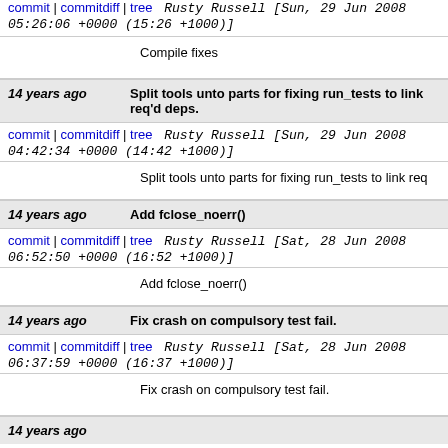commit | commitdiff | tree   Rusty Russell [Sun, 29 Jun 2008 05:26:06 +0000 (15:26 +1000)]
Compile fixes
14 years ago   Split tools unto parts for fixing run_tests to link req'd deps.
commit | commitdiff | tree   Rusty Russell [Sun, 29 Jun 2008 04:42:34 +0000 (14:42 +1000)]
Split tools unto parts for fixing run_tests to link req
14 years ago   Add fclose_noerr()
commit | commitdiff | tree   Rusty Russell [Sat, 28 Jun 2008 06:52:50 +0000 (16:52 +1000)]
Add fclose_noerr()
14 years ago   Fix crash on compulsory test fail.
commit | commitdiff | tree   Rusty Russell [Sat, 28 Jun 2008 06:37:59 +0000 (16:37 +1000)]
Fix crash on compulsory test fail.
14 years ago